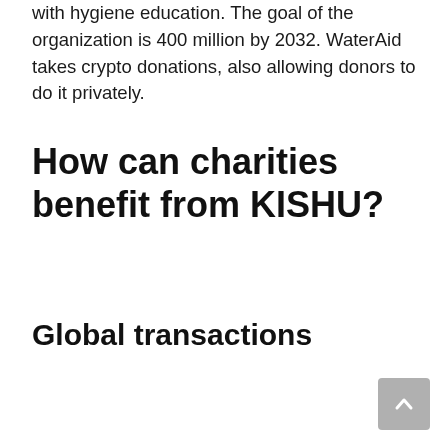with hygiene education. The goal of the organization is 400 million by 2032. WaterAid takes crypto donations, also allowing donors to do it privately.
How can charities benefit from KISHU?
Global transactions